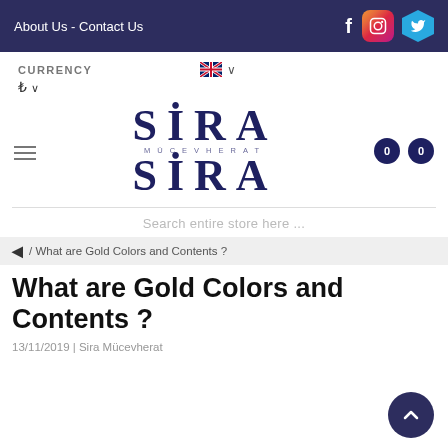About Us - Contact Us
CURRENCY ₺
[Figure (logo): Sira Mücevherat logo with stylized serif text SIRA stacked twice with MÜCEVHERAT in small caps between]
Search entire store here ...
/ What are Gold Colors and Contents ?
What are Gold Colors and Contents ?
13/11/2019 | Sira Mücevherat